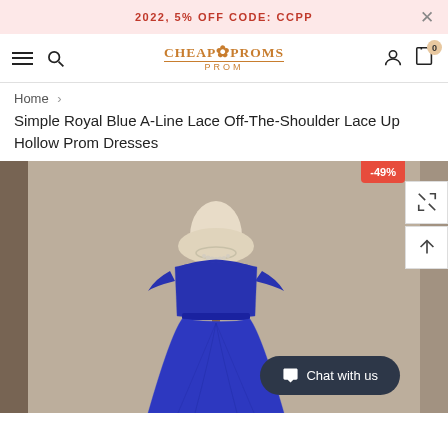2022, 5% OFF CODE: CCPP
[Figure (screenshot): Website navigation bar with hamburger menu, search icon, CheapProms logo, user icon, and cart icon with 0 badge]
Home > Simple Royal Blue A-Line Lace Off-The-Shoulder Lace Up Hollow Prom Dresses
Simple Royal Blue A-Line Lace Off-The-Shoulder Lace Up Hollow Prom Dresses
[Figure (photo): A royal blue lace off-the-shoulder A-line prom dress on a mannequin with a crystal necklace against a beige backdrop. A red -49% discount badge is in the top right corner. A 'Chat with us' button is at the bottom right.]